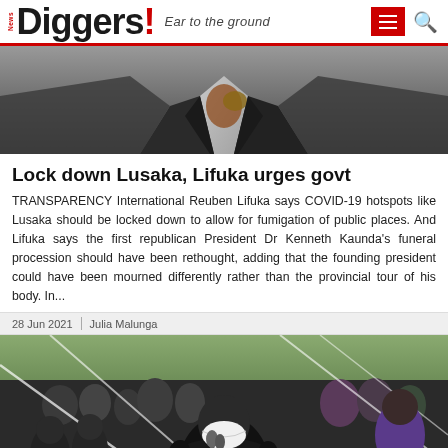News Diggers! Ear to the ground
[Figure (photo): Close-up photo of a person in a dark suit adjusting their tie, torso and hands visible]
Lock down Lusaka, Lifuka urges govt
TRANSPARENCY International Reuben Lifuka says COVID-19 hotspots like Lusaka should be locked down to allow for fumigation of public places. And Lifuka says the first republican President Dr Kenneth Kaunda's funeral procession should have been rethought, adding that the founding president could have been mourned differently rather than the provincial tour of his body. In...
28 Jun 2021 | Julia Malunga
[Figure (photo): Outdoor scene with a person in dark clothing and white face mask speaking at microphones, surrounded by a crowd of people, some in military uniform, in an open field]